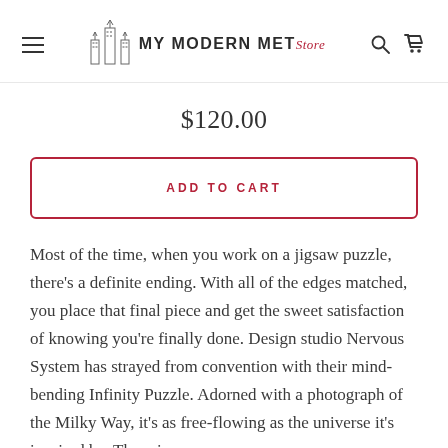MY MODERN MET Store
$120.00
ADD TO CART
Most of the time, when you work on a jigsaw puzzle, there's a definite ending. With all of the edges matched, you place that final piece and get the sweet satisfaction of knowing you're finally done. Design studio Nervous System has strayed from convention with their mind-bending Infinity Puzzle. Adorned with a photograph of the Milky Way, it's as free-flowing as the universe it's inspired by. There is